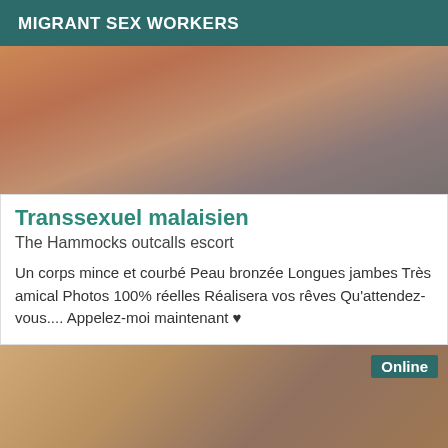MIGRANT SEX WORKERS
[Figure (photo): Partial photo of a person, cropped, showing body from waist area]
Transsexuel malaisien
The Hammocks outcalls escort
Un corps mince et courbé Peau bronzée Longues jambes Très amical Photos 100% réelles Réalisera vos rêves Qu'attendez-vous.... Appelez-moi maintenant ♥
[Figure (photo): Partial photo showing lower body/legs, with Online badge overlay]